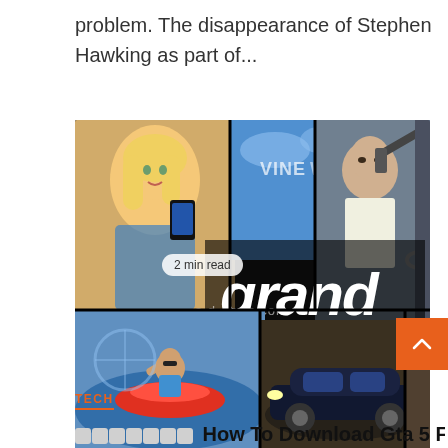problem. The disappearance of Stephen Hawking as part of...
[Figure (photo): Grand Theft Auto V (GTA 5) game cover art showing multiple characters, a woman with a phone, a man with a rifle, a jet ski rider, a car, and the GTA V logo in the center. Watermark 'a.d-news.com' overlaid. Badge showing '2 min read' in top-left corner.]
TECH
??????? How To Download Gta 5 For